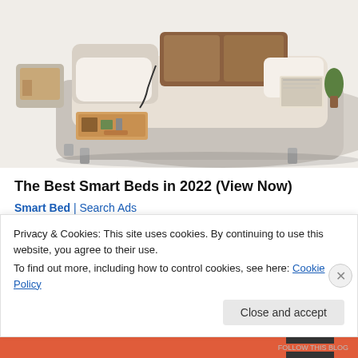[Figure (photo): Photo of a modern smart bed with beige leather upholstery, open storage drawers along the side, small wooden storage chest, and various compartments, viewed from above-front angle.]
The Best Smart Beds in 2022 (View Now)
Smart Bed | Search Ads
Share this:
Privacy & Cookies: This site uses cookies. By continuing to use this website, you agree to their use.
To find out more, including how to control cookies, see here: Cookie Policy